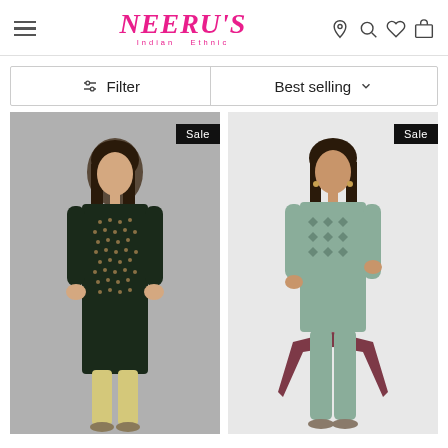Neeru's Indian Ethnic - navigation header with hamburger menu, logo, location, search, wishlist, cart icons
Filter | Best selling
[Figure (photo): Woman wearing a dark navy/black printed kurti with gold motifs, paired with beige leggings and sandals, on a grey background. Sale badge in top-right corner.]
[Figure (photo): Woman wearing a grey printed kurti with matching pants and a maroon printed dupatta, on a white background. Sale badge in top-right corner.]